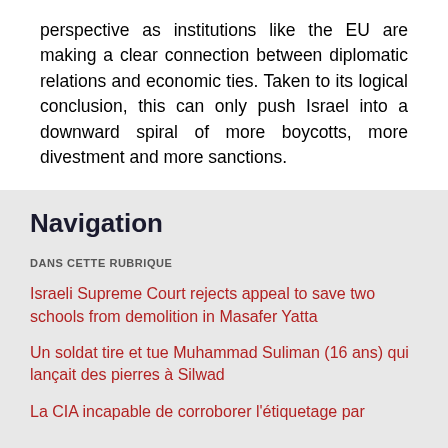perspective as institutions like the EU are making a clear connection between diplomatic relations and economic ties. Taken to its logical conclusion, this can only push Israel into a downward spiral of more boycotts, more divestment and more sanctions.
Navigation
DANS CETTE RUBRIQUE
Israeli Supreme Court rejects appeal to save two schools from demolition in Masafer Yatta
Un soldat tire et tue Muhammad Suliman (16 ans) qui lançait des pierres à Silwad
La CIA incapable de corroborer l'étiquetage par